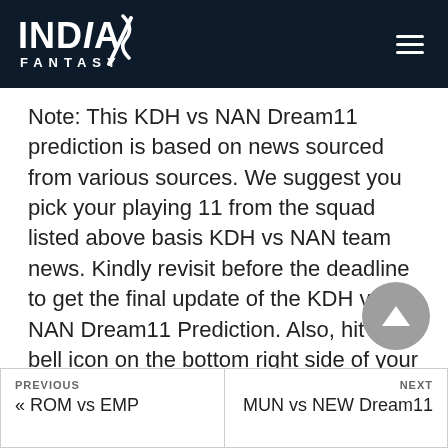INDIA FANTASY
Note: This KDH vs NAN Dream11 prediction is based on news sourced from various sources. We suggest you pick your playing 11 from the squad listed above basis KDH vs NAN team news. Kindly revisit before the deadline to get the final update of the KDH vs NAN Dream11 Prediction. Also, hit the bell icon on the bottom right side of your screen to get all the latest Dream11 prediction updates.
PREVIOUS « ROM vs EMP | NEXT MUN vs NEW Dream11